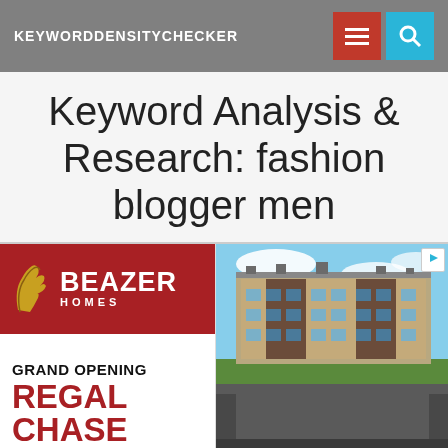KEYWORDDENSITYCHECKER
Keyword Analysis & Research: fashion blogger men
[Figure (advertisement): Beazer Homes Grand Opening Regal Chase advertisement with building photo]